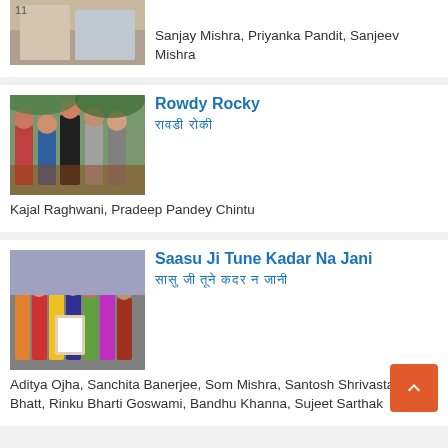[Figure (photo): Partial photo of actors at top of page]
Sanjay Mishra, Priyanka Pandit, Sanjeev Mishra
[Figure (photo): Group photo of cast of Rowdy Rocky]
Rowdy Rocky
रावडी राकी (Hindi text)
Kajal Raghwani, Pradeep Pandey Chintu
[Figure (photo): Group photo of cast of Saasu Ji Tune Kadar Na Jani]
Saasu Ji Tune Kadar Na Jani
सासु जी तूने कदर ना जानी (Hindi text)
Aditya Ojha, Sanchita Banerjee, Som Mishra, Santosh Shrivastav, C.P. Bhatt, Rinku Bharti Goswami, Bandhu Khanna, Sujeet Sarthak